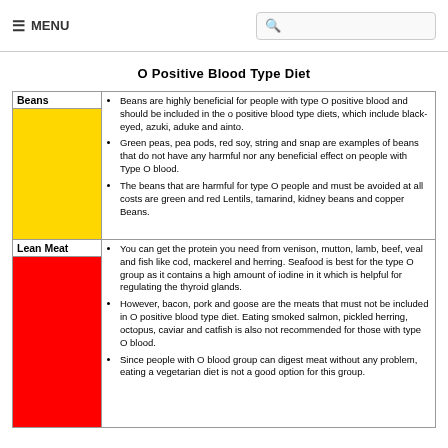≡ MENU
O Positive Blood Type Diet
| Category | Details |
| --- | --- |
| Beans | Beans are highly beneficial for people with type O positive blood and should be included in the o positive blood type diets, which include black-eyed, azuki, aduke and ainto.
Green peas, pea pods, red soy, string and snap are examples of beans that do not have any harmful nor any beneficial effect on people with Type O blood.
The beans that are harmful for type O people and must be avoided at all costs are green and red Lentils, tamarind, kidney beans and copper Beans. |
| Lean Meat | You can get the protein you need from venison, mutton, lamb, beef, veal and fish like cod, mackerel and herring. Seafood is best for the type O group as it contains a high amount of iodine in it which is helpful for regulating the thyroid glands.
However, bacon, pork and goose are the meats that must not be included in O positive blood type diet. Eating smoked salmon, pickled herring, octopus, caviar and catfish is also not recommended for those with type O blood.
Since people with O blood group can digest meat without any problem, eating a vegetarian diet is not a good option for this group. |